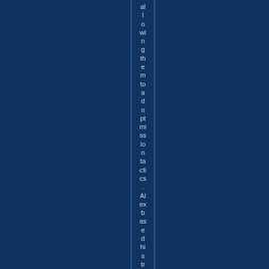allowing them to adopt mission tactics. Alexbased his str